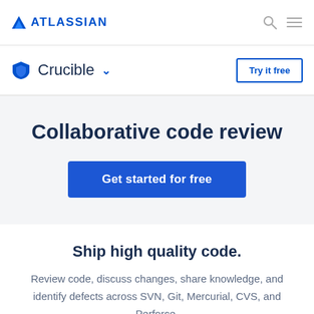ATLASSIAN
Crucible
Collaborative code review
Get started for free
Ship high quality code.
Review code, discuss changes, share knowledge, and identify defects across SVN, Git, Mercurial, CVS, and Perforce.